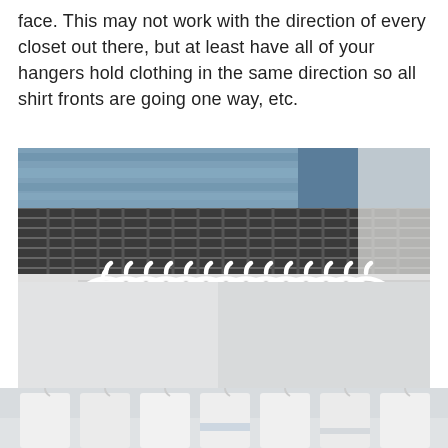face. This may not work with the direction of every closet out there, but at least have all of your hangers hold clothing in the same direction so all shirt fronts are going one way, etc.
[Figure (photo): Close-up photo of a row of white plastic hangers on a white wire closet shelf, with folded jeans visible on the shelf above. The hangers are neatly arranged in a uniform direction.]
[Figure (photo): Partial bottom photo showing white hanging garments on hangers, cropped at the bottom of the page.]